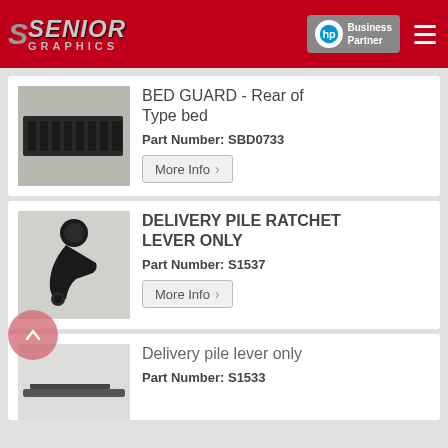[Figure (logo): Senior Graphics logo with HP Business Partner badge and hamburger menu on red header background]
[Figure (photo): Photo of a black plastic bed guard - rear of type bed part]
BED GUARD - Rear of Type bed
Part Number: SBD0733
[Figure (photo): Photo of delivery pile ratchet lever only mechanical part]
DELIVERY PILE RATCHET LEVER ONLY
Part Number: S1537
[Figure (photo): Photo of delivery pile lever only part (partially visible)]
Delivery pile lever only
Part Number: S1533